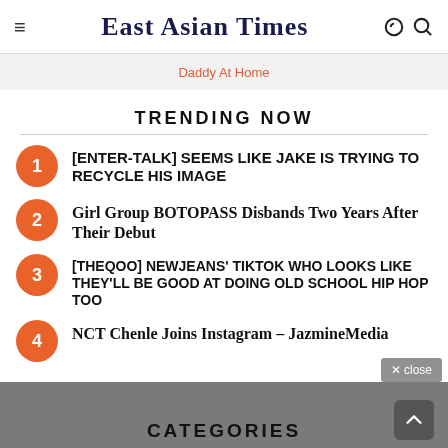East Asian Times
Daddy At Home
TRENDING NOW
1. [enter-talk] SEEMS LIKE JAKE IS TRYING TO RECYCLE HIS IMAGE
2. Girl Group BOTOPASS Disbands Two Years After Their Debut
3. [theqoo] NEWJEANS' TIKTOK WHO LOOKS LIKE THEY'LL BE GOOD AT DOING OLD SCHOOL HIP HOP TOO
4. NCT Chenle Joins Instagram – JazmineMedia
CATEGORIES